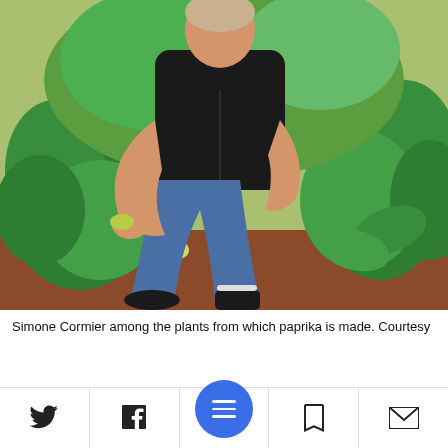[Figure (photo): Woman crouching in a field of pepper plants on red soil, holding a green pepper, wearing black sleeveless top and blue jeans]
Simone Cormier among the plants from which paprika is made. Courtesy
Click the alert icon to follo...